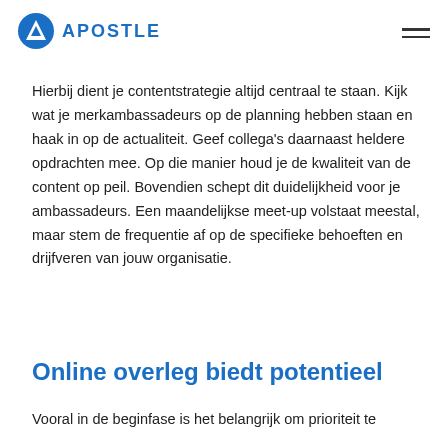APOSTLE
Hierbij dient je contentstrategie altijd centraal te staan. Kijk wat je merkambassadeurs op de planning hebben staan en haak in op de actualiteit. Geef collega's daarnaast heldere opdrachten mee. Op die manier houd je de kwaliteit van de content op peil. Bovendien schept dit duidelijkheid voor je ambassadeurs. Een maandelijkse meet-up volstaat meestal, maar stem de frequentie af op de specifieke behoeften en drijfveren van jouw organisatie.
Online overleg biedt potentieel
Vooral in de beginfase is het belangrijk om prioriteit te